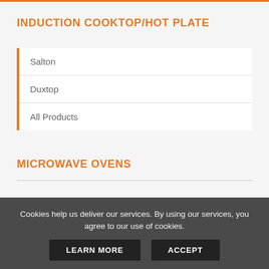INDUCTION COOKTOP/HOT PLATE
Salton
Duxtop
All Products
MICROWAVE OVENS
Toshiba
Cookies help us deliver our services. By using our services, you agree to our use of cookies.
LEARN MORE
ACCEPT